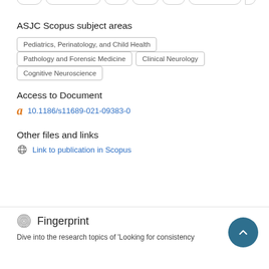ASJC Scopus subject areas
Pediatrics, Perinatology, and Child Health
Pathology and Forensic Medicine
Clinical Neurology
Cognitive Neuroscience
Access to Document
10.1186/s11689-021-09383-0
Other files and links
Link to publication in Scopus
Fingerprint
Dive into the research topics of 'Looking for consistency